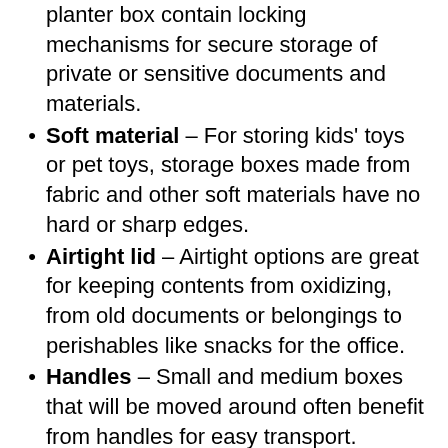planter box contain locking mechanisms for secure storage of private or sensitive documents and materials.
Soft material – For storing kids' toys or pet toys, storage boxes made from fabric and other soft materials have no hard or sharp edges.
Airtight lid – Airtight options are great for keeping contents from oxidizing, from old documents or belongings to perishables like snacks for the office.
Handles – Small and medium boxes that will be moved around often benefit from handles for easy transport.
Wheels – Some larger bins and totes feature smooth-rolling casters for easy